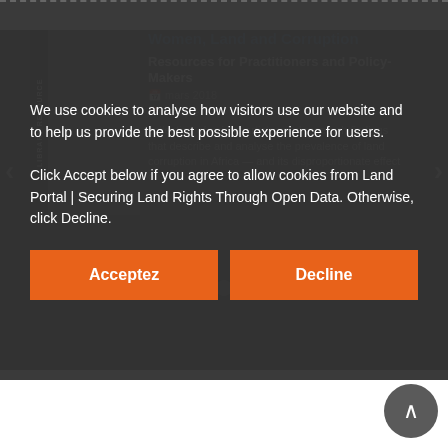[Figure (screenshot): Cookie consent overlay on a Land Portal website page showing a carousel with a resource titled 'Women, Land and Corruption - Resources for Practitioners and Policy-Makers' with navigation arrows and dots, overlaid by a cookie consent dialog with Accept and Decline buttons.]
We use cookies to analyse how visitors use our website and to help us provide the best possible experience for users.

Click Accept below if you agree to allow cookies from Land Portal | Securing Land Rights Through Open Data. Otherwise, click Decline.
Acceptez
Decline
Avoiding the Worst Case Scenario:
Whether Indigenous Peoples and Local Communities in Asia and Africa are Vulnerable to Expropriation Without Fair